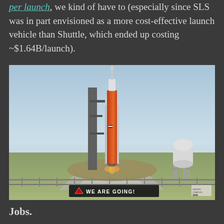per launch, we kind of have to (especially since SLS was in part envisioned as a more cost-effective launch vehicle than Shuttle, which ended up costing ~$1.64B/launch).
[Figure (photo): Photo of the NASA Space Launch System (SLS) rocket on the launch pad at Kennedy Space Center, with a 'WE ARE GOING!' banner sign in the foreground. A water tower is visible on the right side. The rocket has an orange central core and white solid rocket boosters.]
Jobs.